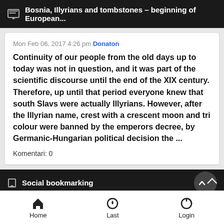Bosnia, Illyrians and tombstones – beginning of European...
Mon Feb 06, 2017 4:26 pm Donaton
Continuity of our people from the old days up to today was not in question, and it was part of the scientific discourse until the end of the XIX century. Therefore, up until that period everyone knew that south Slavs were actually Illyrians. However, after the Illyrian name, crest with a crescent moon and tri colour were banned by the emperors decree, by Germanic-Hungarian political decision the ...
Komentari: 0
Social bookmarking
[Figure (screenshot): Social bookmarking icons: Reddit, Google, Facebook, Twitter]
Home   Last   Login